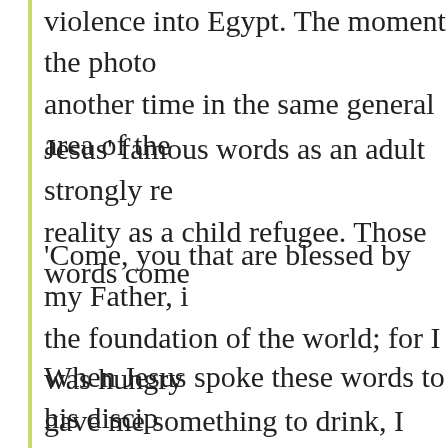violence into Egypt. The moment the photo another time in the same general area of the
Jesus' famous words as an adult strongly re reality as a child refugee. Those words come
'Come, you that are blessed by my Father, i the foundation of the world; for I was hungry gave me something to drink, I was a refugee
When Jesus spoke these words to his discip Commonwealth of God, a clearer translation and 25 lays out what the Commonwealth of and who is not and must do some work. Jes about being hungry and being fed, being thi and being welcomed. Those listening are co